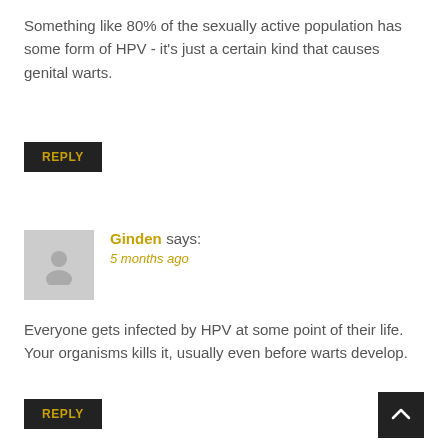Something like 80% of the sexually active population has some form of HPV - it's just a certain kind that causes genital warts.
REPLY
Ginden says:
5 months ago
Everyone gets infected by HPV at some point of their life. Your organisms kills it, usually even before warts develop.
REPLY
UnsolicitedDogPics says:
5 months ago